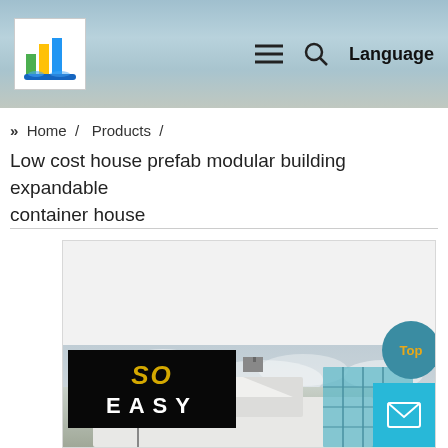SO EASY — Home / Products / Low cost house prefab modular building expandable container house
» Home / Products /
Low cost house prefab modular building expandable container house
[Figure (photo): Product photo of a prefab modular expandable container house with cloudy sky background, SO EASY logo badge in top-left corner, Top button and mail icon in bottom-right.]